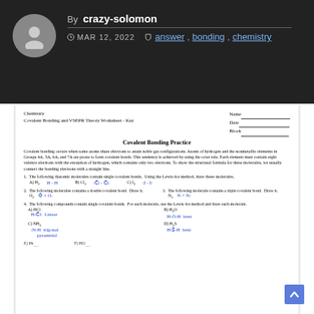By crazy-solomon — MAR 12, 2022 — answer, bonding, chemistry
Chemistry
Covalent Bonding and VSEPR Theory Worksheet - Key
Name
Date
Block
Covalent Bonding Practice
Covalent bonding occurs when some atoms share electrons to attain noble gas configurations. Atoms of hydrogen and the nonmetallic elements in Groups 4A, 5A, 6A, and 7A are prone to form covalent bonds. This tendency is achieved by using the octet rule. Each element must contain eight valence electrons with the exception of hydrogen, which contains only two electrons. To show the structural formula for these molecules, we usually connect the bonding electrons with a straight line.
1. The following diatomic molecules contain single covalent bonds. Using the Lewis dot method, draw these molecules.
A) H₂  H-H
B) Cl₂  :Cl̈-Cl̈:
C) I₂  :Ï-Ï:
2. The following molecules contains a double covalent bond. Draw it.
O₂  Ȯ=O.
3. The following molecule contains a triple covalent bond. Draw it.
N₂  N≡N:
4. The following compounds contain single covalent bonds. For each molecule, use the Lewis dot method and draw each molecule.
A) HCl  H-Cl: Linear
B) H₂O  H-Ö-H  bent
C) NH₃  :N-H trigonal pyramidal
D) H₂S  H-S-H  bent